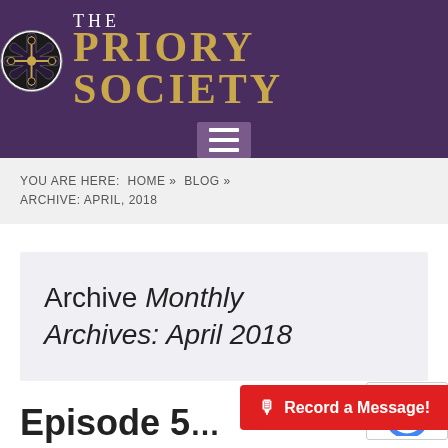The Priory Society
YOU ARE HERE:  HOME »  BLOG »  ARCHIVE: APRIL, 2018
Archive Monthly Archives: April 2018
Episode 5... Swinger
[Figure (other): Record a Message button in red with microphone icon]
[Figure (other): reCAPTCHA widget corner visible at bottom right]